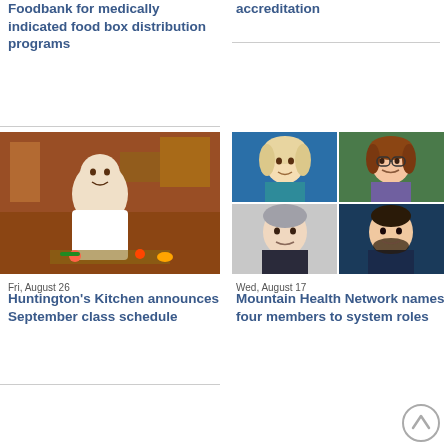Foodbank for medically indicated food box distribution programs
accreditation
[Figure (photo): Chef in white uniform cutting vegetables in a professional kitchen]
[Figure (photo): 2x2 grid of four professional headshot photos of Mountain Health Network members]
Fri, August 26
Huntington's Kitchen announces September class schedule
Wed, August 17
Mountain Health Network names four members to system roles